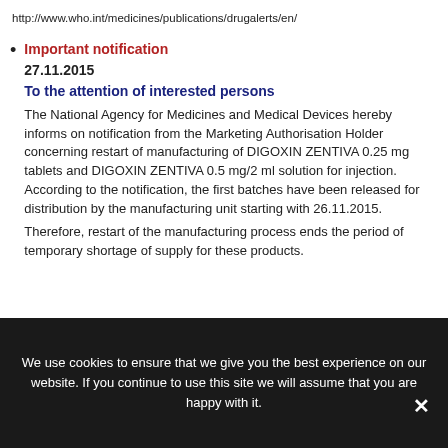http://www.who.int/medicines/publications/drugalerts/en/
Important notification
27.11.2015
To the attention of interested persons
The National Agency for Medicines and Medical Devices hereby informs on notification from the Marketing Authorisation Holder concerning restart of manufacturing of DIGOXIN ZENTIVA 0.25 mg tablets and DIGOXIN ZENTIVA 0.5 mg/2 ml solution for injection. According to the notification, the first batches have been released for distribution by the manufacturing unit starting with 26.11.2015.
Therefore, restart of the manufacturing process ends the period of temporary shortage of supply for these products.
We use cookies to ensure that we give you the best experience on our website. If you continue to use this site we will assume that you are happy with it.